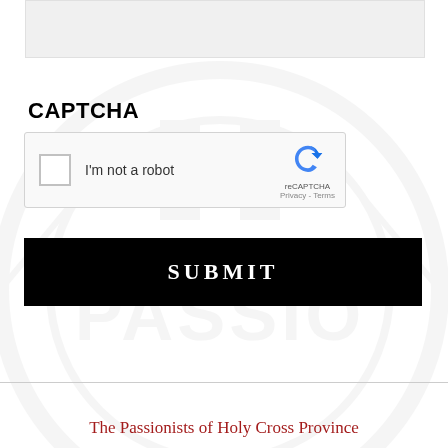[Figure (screenshot): Gray input area / top bar of a web form]
CAPTCHA
[Figure (screenshot): reCAPTCHA widget with checkbox labeled 'I'm not a robot' and reCAPTCHA logo with Privacy and Terms links]
[Figure (screenshot): Black SUBMIT button with white text]
The Passionists of Holy Cross Province